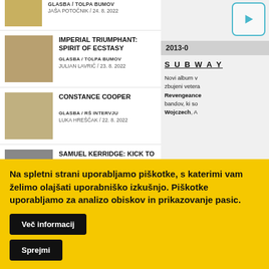GLASBA / TOLPA BUMOV
JAŠA POTOČNIK / 24. 8. 2022
IMPERIAL TRIUMPHANT: SPIRIT OF ECSTASY
GLASBA / TOLPA BUMOV
JULIAN LAVRIČ / 23. 8. 2022
CONCSTANCE COOPER
GLASBA / RŠ INTERVJU
LUKA HREŠČAK / 22. 8. 2022
SAMUEL KERRIDGE: KICK TO KILL
GLASBA / TOLPA BUMOV
ŽIGA PUCELJ / 19. 8. 2022
Zgodovina uredniškega izbora
2013-0
S U B W A Y
Novi album v... zbujeni vetera
Revengeance... bandov, ki so
Wojczech, A...
TERVEET KA...
Na spletni strani uporabljamo piškotke, s katerimi vam želimo olajšati uporabniško izkušnjo. Piškotke uporabljamo za analizo obiskov in prikazovanje pasic.
Več informacij
Sprejmi